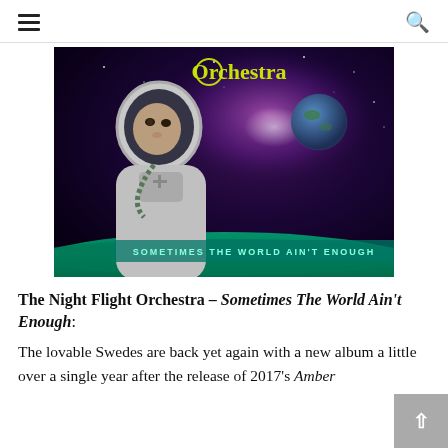≡   🔍
[Figure (photo): Album cover for The Night Flight Orchestra 'Sometimes The World Ain't Enough' showing a woman in an astronaut suit against a space/galaxy background, with yellow glowing 'Orchestra' text at top and teal text 'SOMETIMES THE WORLD AIN'T ENOUGH' at bottom.]
The Night Flight Orchestra – Sometimes The World Ain't Enough:
The lovable Swedes are back yet again with a new album a little over a single year after the release of 2017's Amber